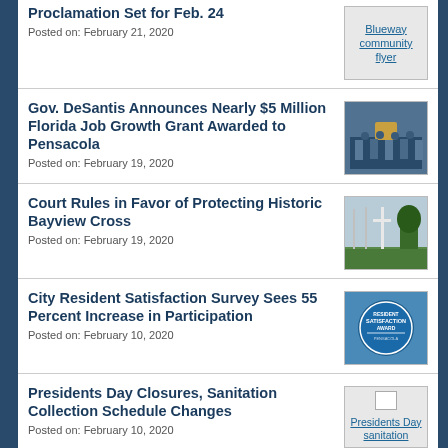Proclamation Set for Feb. 24
Posted on: February 21, 2020
Gov. DeSantis Announces Nearly $5 Million Florida Job Growth Grant Awarded to Pensacola
Posted on: February 19, 2020
Court Rules in Favor of Protecting Historic Bayview Cross
Posted on: February 19, 2020
City Resident Satisfaction Survey Sees 55 Percent Increase in Participation
Posted on: February 10, 2020
Presidents Day Closures, Sanitation Collection Schedule Changes
Posted on: February 10, 2020